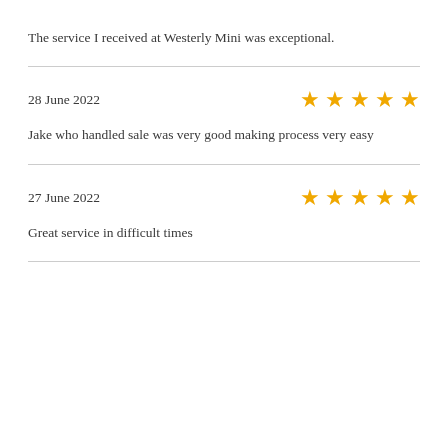The service I received at Westerly Mini was exceptional.
28 June 2022
Jake who handled sale was very good making process very easy
27 June 2022
Great service in difficult times